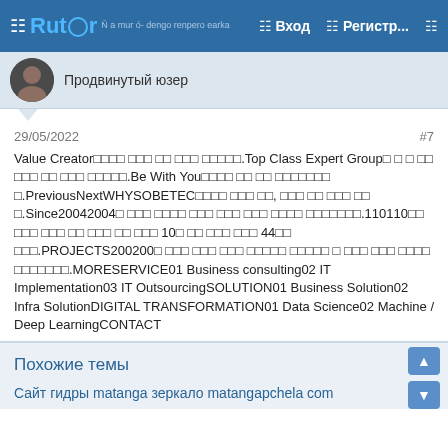Rutor — Вход — Регистр...
Продвинутый юзер
29/05/2022   #7
Value Creator□□□□ □□□ □□ □□□ □□□□□.Top Class Expert Group□ □ □ □□ □□□ □□ □□□ □□□□□.Be With You□□□□ □□ □□ □□□□□□□ □.PreviousNextWHYSOBETEC□□□□ □□□ □□, □□□ □□ □□□ □□ □.Since20042004□ □□□ □□□□ □□□ □□□ □□□ □□□□ □□□□□□□.110110□□ □□□ □□□ □□ □□□ □□ □□□ 10□ □□ □□□ □□□ 44□□ □□□.PROJECTS200200□ □□□ □□□ □□□ □□□□□ □□□□□ □ □□□ □□□ □□□□ □□□□□□□.MORESERVICE01 Business consulting02 IT Implementation03 IT OutsourcingSOLUTION01 Business Solution02 Infra SolutionDIGITAL TRANSFORMATION01 Data Science02 Machine / Deep LearningCONTACT
Похожие темы
Сайт гидры matanga зеркало matangapchela com